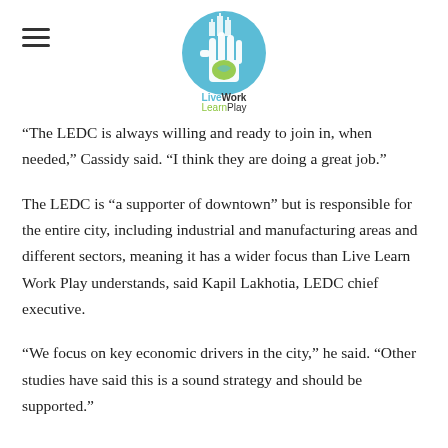LiveWork LearnPlay logo and hamburger menu
“The LEDC is always willing and ready to join in, when needed,” Cassidy said. “I think they are doing a great job.”
The LEDC is “a supporter of downtown” but is responsible for the entire city, including industrial and manufacturing areas and different sectors, meaning it has a wider focus than Live Learn Work Play understands, said Kapil Lakhotia, LEDC chief executive.
“We focus on key economic drivers in the city,” he said. “Other studies have said this is a sound strategy and should be supported.”